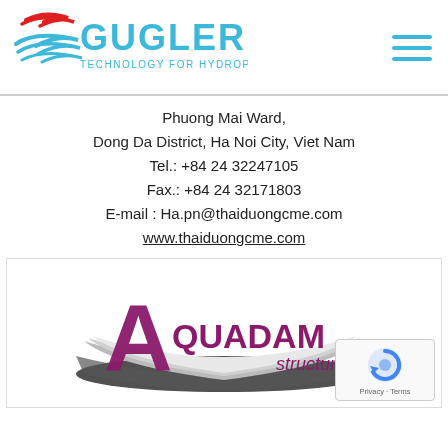[Figure (logo): Gugler Technology for Hydropower Plants logo with red and blue swoosh graphic and blue text]
Phuong Mai Ward,
Dong Da District, Ha Noi City, Viet Nam
Tel.: +84 24 32247105
Fax.: +84 24 32171803
E-mail : Ha.pn@thaiduongcme.com
www.thaiduongcme.com
[Figure (logo): Aquadam structures logo with large purple A letter and metallic curved shape]